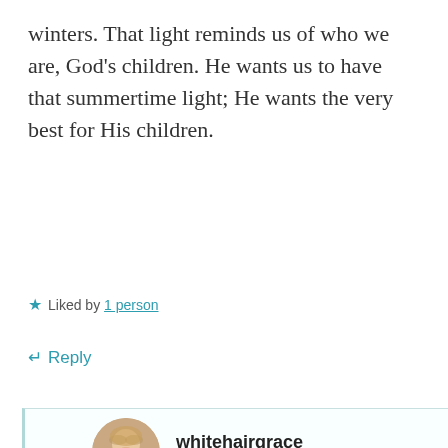winters. That light reminds us of who we are, God’s children. He wants us to have that summertime light; He wants the very best for His children.
★ Liked by 1 person
↵ Reply
whitehairgrace
02/07/2020 at 5:19 pm
Thank you, Linda! And that light is always there, isn’t it? We find it again when we turn